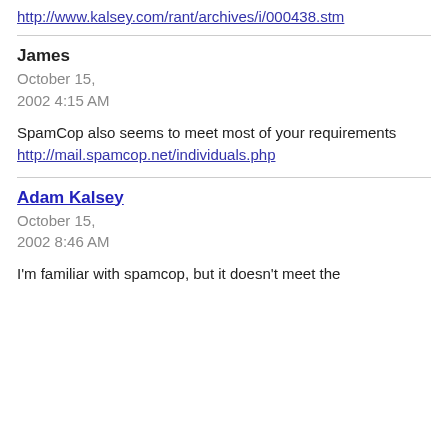http://www.kalsey.com/rant/archives/i/000438.stm
James
October 15,
2002 4:15 AM
SpamCop also seems to meet most of your requirements
http://mail.spamcop.net/individuals.php
Adam Kalsey
October 15,
2002 8:46 AM
I'm familiar with spamcop, but it doesn't meet the